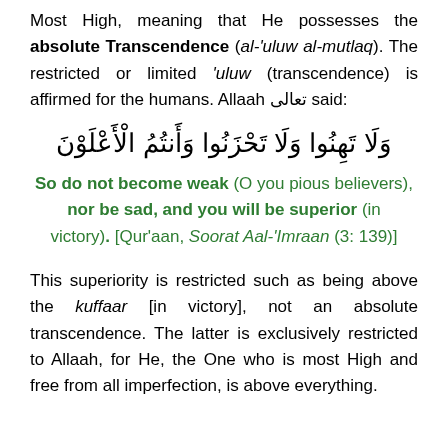Most High, meaning that He possesses the absolute Transcendence (al-'uluw al-mutlaq). The restricted or limited 'uluw (transcendence) is affirmed for the humans. Allaah تعالى said:
وَلَا تَهِنُوا وَلَا تَحْزَنُوا وَأَنتُمُ الْأَعْلَوْنَ
So do not become weak (O you pious believers), nor be sad, and you will be superior (in victory). [Qur'aan, Soorat Aal-'Imraan (3: 139)]
This superiority is restricted such as being above the kuffaar [in victory], not an absolute transcendence. The latter is exclusively restricted to Allaah, for He, the One who is most High and free from all imperfection, is above everything.